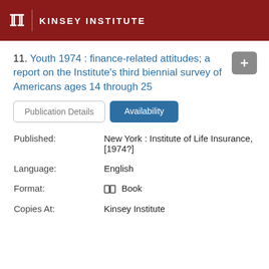KINSEY INSTITUTE
11. Youth 1974 : finance-related attitudes; a report on the Institute's third biennial survey of Americans ages 14 through 25
Publication Details | Availability
Published:
New York : Institute of Life Insurance, [1974?]
Language:
English
Format:
Book
Copies At:
Kinsey Institute